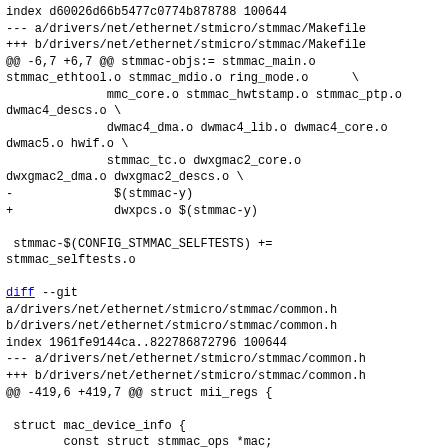index d60026d66b5477c0774b878788 100644
--- a/drivers/net/ethernet/stmicro/stmmac/Makefile
+++ b/drivers/net/ethernet/stmicro/stmmac/Makefile
@@ -6,7 +6,7 @@ stmmac-objs:= stmmac_main.o
stmmac_ethtool.o stmmac_mdio.o ring_mode.o       \
              mmc_core.o stmmac_hwtstamp.o stmmac_ptp.o
dwmac4_descs.o \
              dwmac4_dma.o dwmac4_lib.o dwmac4_core.o
dwmac5.o hwif.o \
              stmmac_tc.o dwxgmac2_core.o
dwxgmac2_dma.o dwxgmac2_descs.o \
-              $(stmmac-y)
+              dwxpcs.o $(stmmac-y)

 stmmac-$(CONFIG_STMMAC_SELFTESTS) +=
stmmac_selftests.o

diff --git
a/drivers/net/ethernet/stmicro/stmmac/common.h
b/drivers/net/ethernet/stmicro/stmmac/common.h
index 1961fe9144ca..822786872796 100644
--- a/drivers/net/ethernet/stmicro/stmmac/common.h
+++ b/drivers/net/ethernet/stmicro/stmmac/common.h
@@ -419,6 +419,7 @@ struct mii_regs {

 struct mac_device_info {
        const struct stmmac_ops *mac;
+       const struct stmmac_xpcs *xpcs;
        const struct stmmac_desc_ops *desc;
        const struct stmmac_dma_ops *dma;
        const struct stmmac_mode_ops *mode;